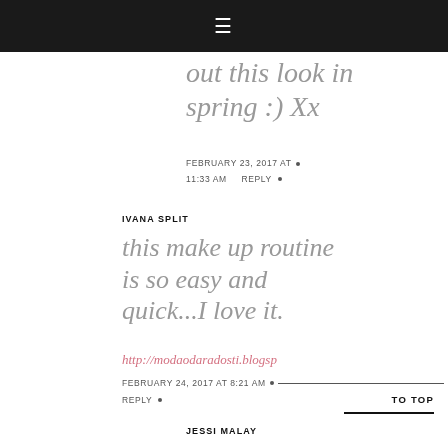☰
out this look in spring :) Xx
FEBRUARY 23, 2017 AT 11:33 AM  •  REPLY  •
IVANA SPLIT
this make up routine is so easy and quick...I love it.
http://modaodaradosti.blogsp
FEBRUARY 24, 2017 AT 8:21 AM  •  REPLY  •  TO TOP
JESSI MALAY
Yesss exactly